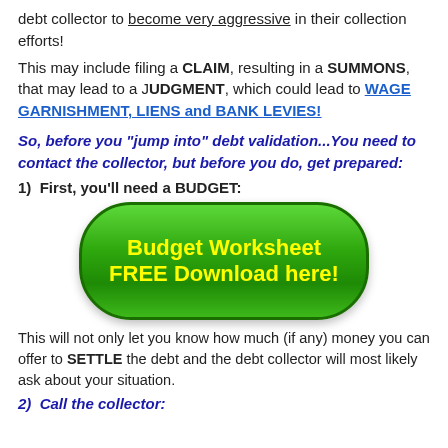debt collector to become very aggressive in their collection efforts!
This may include filing a CLAIM, resulting in a SUMMONS, that may lead to a JUDGMENT, which could lead to WAGE GARNISHMENT, LIENS and BANK LEVIES!
So, before you "jump into" debt validation...You need to contact the collector, but before you do, get prepared:
1)  First, you'll need a BUDGET:
[Figure (infographic): Green rounded button with yellow bold text reading 'Budget Worksheet FREE Download here!']
This will not only let you know how much (if any) money you can offer to SETTLE the debt and the debt collector will most likely ask about your situation.
2)  Call the collector: